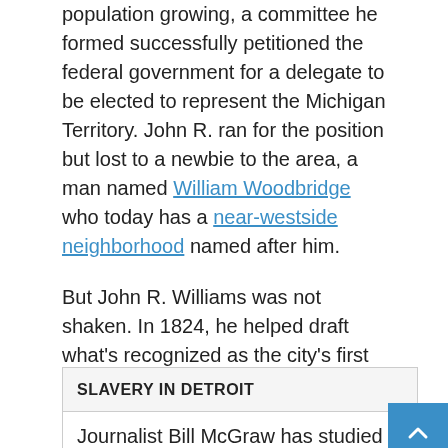population growing, a committee he formed successfully petitioned the federal government for a delegate to be elected to represent the Michigan Territory. John R. ran for the position but lost to a newbie to the area, a man named William Woodbridge who today has a near-westside neighborhood named after him.
But John R. Williams was not shaken. In 1824, he helped draft what's recognized as the city's first charter. Then under its terms, he became Detroit's first elected mayor. He went on to serve a total of six terms during the following years: 1824 – 1826, 1830 – 1831, 1844 – 1847.
SLAVERY IN DETROIT
Journalist Bill McGraw has studied and written about slavery in Detroit, which he says existed